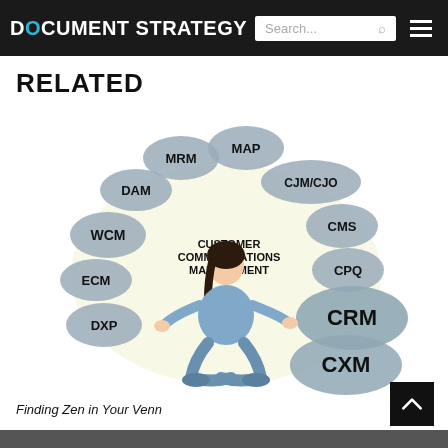DOCUMENT STRATEGY — Search bar and navigation menu
RELATED
[Figure (illustration): Illustration of a meditating woman in blue outfit surrounded by grey stone-shaped labels: MRM, MAP, DAM, CJM/CJO, WCM, CMS, ECM, CPQ, DXP, CRM, CXM, with 'CUSTOMER COMMUNICATIONS MANAGEMENT' in the center.]
Finding Zen in Your Venn